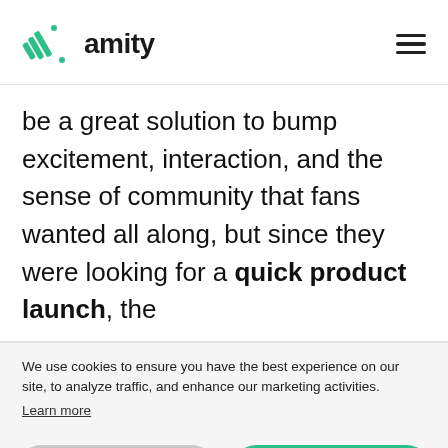amity
be a great solution to bump excitement, interaction, and the sense of community that fans wanted all along, but since they were looking for a quick product launch, the
We use cookies to ensure you have the best experience on our site, to analyze traffic, and enhance our marketing activities. Learn more
Reject
Accept
Learn more and customize